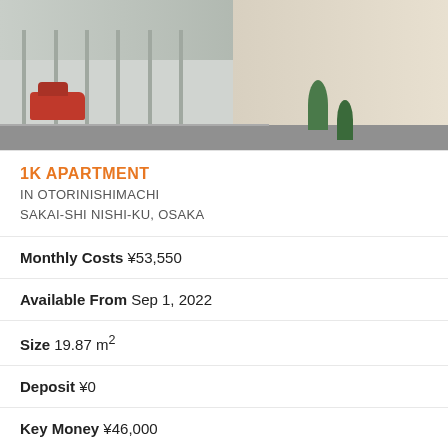[Figure (photo): Exterior photo of a low-rise apartment building with a red car parked outside, trees visible, and a beige/tan building in the background. Two-story building facade visible on the left.]
1K APARTMENT
IN OTORINISHIMACHI
SAKAI-SHI NISHI-KU, OSAKA
Monthly Costs ¥53,550
Available From Sep 1, 2022
Size 19.87 m²
Deposit ¥0
Key Money ¥46,000
Floor 3 / 3F
Year Built 2005